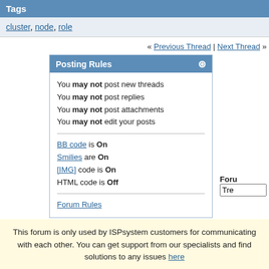Tags
cluster, node, role
« Previous Thread | Next Thread »
Posting Rules
You may not post new threads
You may not post replies
You may not post attachments
You may not edit your posts
BB code is On
Smilies are On
[IMG] code is On
HTML code is Off
Forum Rules
All times are GMT +2. The time now is 03
This forum is only used by ISPsystem customers for communicating with each other. You can get support from our specialists and find solutions to any issues here